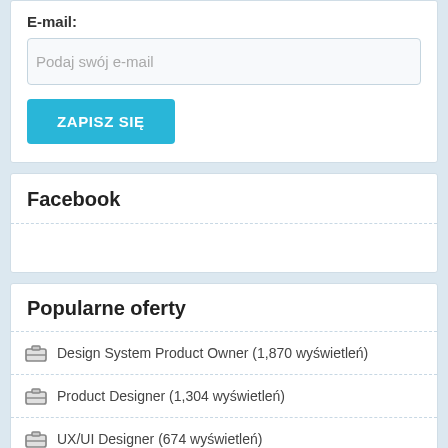E-mail:
Podaj swój e-mail
ZAPISZ SIĘ
Facebook
Popularne oferty
Design System Product Owner (1,870 wyświetleń)
Product Designer (1,304 wyświetleń)
UX/UI Designer (674 wyświetleń)